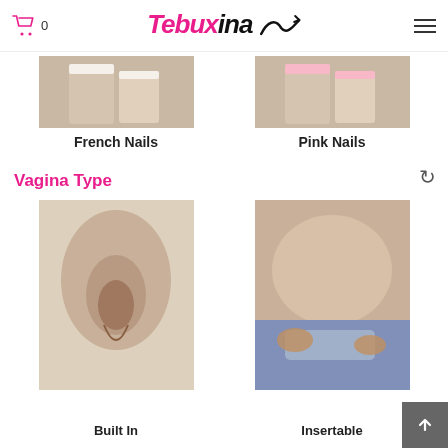Tebuxina — cart 0, hamburger menu
[Figure (photo): Two hand/arm photos side by side: French Nails (left) and Pink Nails (right)]
French Nails
Pink Nails
Vagina Type
[Figure (photo): Two product photos showing Built In (left) and Insertable (right) vagina type options]
Built In
Insertable